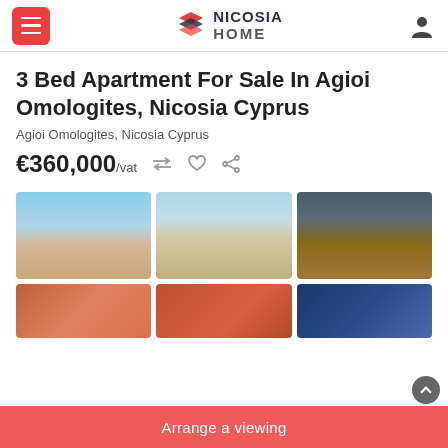Nicosia Home — navigation header with menu and user icon
3 Bed Apartment For Sale In Agioi Omologites, Nicosia Cyprus
Agioi Omologites, Nicosia Cyprus
€360,000/vat
[Figure (photo): Three property images in a grid: two exterior renders of a modern tall apartment building and one interior corridor/entrance view]
[Figure (photo): Three partially visible property images in a bottom row]
Arrange a viewing